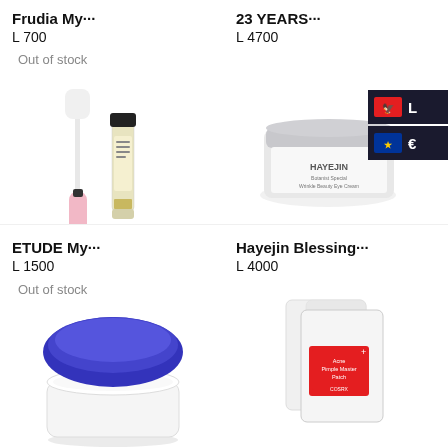Frudia My···
L 700
23 YEARS···
L 4700
Out of stock
[Figure (photo): Mascara wand and mascara tube product]
[Figure (photo): HAYEJIN Botanist Special Wrinkle Beauty Eye Cream jar with currency selector overlay showing Albanian Lek (L) and Euro (€) options]
ETUDE My···
L 1500
Hayejin Blessing···
L 4000
Out of stock
[Figure (photo): Open cream jar with blue lid and white cream]
[Figure (photo): COSRX Acne Pimple Master Patch packets]